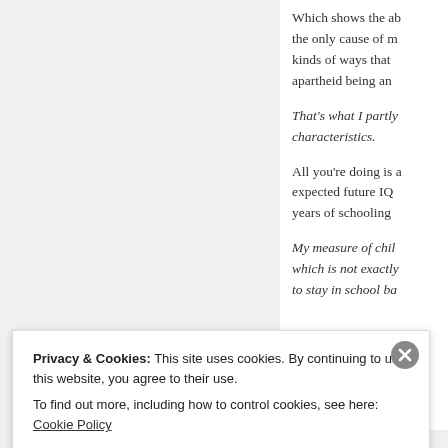Which shows the ab... the only cause of m... kinds of ways that... apartheid being an...
That's what I partly... characteristics.
All you're doing is a... expected future IQ... years of schooling...
My measure of chil... which is not exactly... to stay in school ba...
Privacy & Cookies: This site uses cookies. By continuing to use this website, you agree to their use.
To find out more, including how to control cookies, see here: Cookie Policy
Close and accept